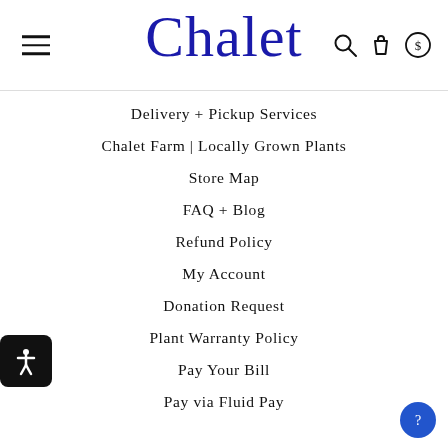Chalet
Delivery + Pickup Services
Chalet Farm | Locally Grown Plants
Store Map
FAQ + Blog
Refund Policy
My Account
Donation Request
Plant Warranty Policy
Pay Your Bill
Pay via Fluid Pay